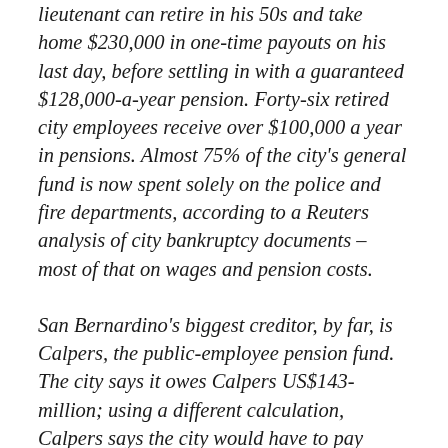lieutenant can retire in his 50s and take home $230,000 in one-time payouts on his last day, before settling in with a guaranteed $128,000-a-year pension. Forty-six retired city employees receive over $100,000 a year in pensions. Almost 75% of the city's general fund is now spent solely on the police and fire departments, according to a Reuters analysis of city bankruptcy documents – most of that on wages and pension costs.
San Bernardino's biggest creditor, by far, is Calpers, the public-employee pension fund. The city says it owes Calpers US$143-million; using a different calculation, Calpers says the city would have to pay US$320-million if it left the plan immediately. Second on the city's list of creditors are holders of US$46-million worth of pension bonds — money borrowed in 2005 to pay off Calpers. The total pension-related debts are more than double the $92 million owed to the city's